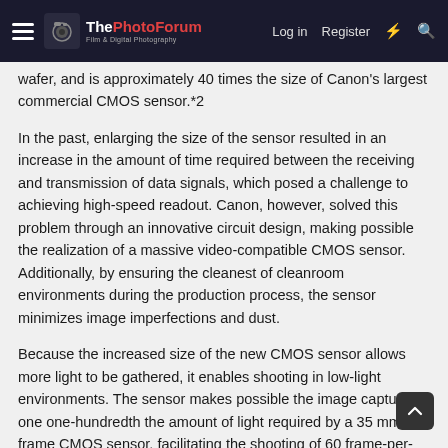ThePhotoForum — Log in | Register
wafer, and is approximately 40 times the size of Canon's largest commercial CMOS sensor.*2
In the past, enlarging the size of the sensor resulted in an increase in the amount of time required between the receiving and transmission of data signals, which posed a challenge to achieving high-speed readout. Canon, however, solved this problem through an innovative circuit design, making possible the realization of a massive video-compatible CMOS sensor. Additionally, by ensuring the cleanest of cleanroom environments during the production process, the sensor minimizes image imperfections and dust.
Because the increased size of the new CMOS sensor allows more light to be gathered, it enables shooting in low-light environments. The sensor makes possible the image capture in one one-hundredth the amount of light required by a 35 mm full-frame CMOS sensor, facilitating the shooting of 60 frame-per-second video with a mere 0.3 lux of illumination.